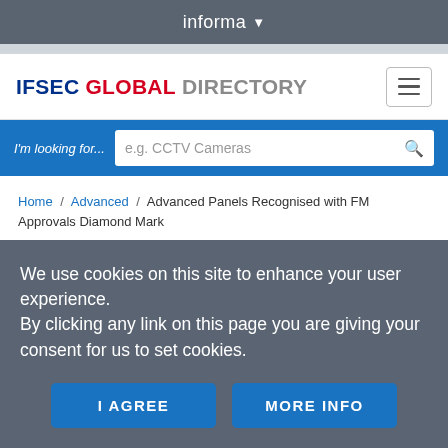informa
[Figure (logo): IFSEC GLOBAL DIRECTORY logo with hamburger menu icon]
I'm looking for... e.g. CCTV Cameras
Home / Advanced / Advanced Panels Recognised with FM Approvals Diamond Mark
Advanced Panels
We use cookies on this site to enhance your user experience.
By clicking any link on this page you are giving your consent for us to set cookies.
I AGREE | MORE INFO